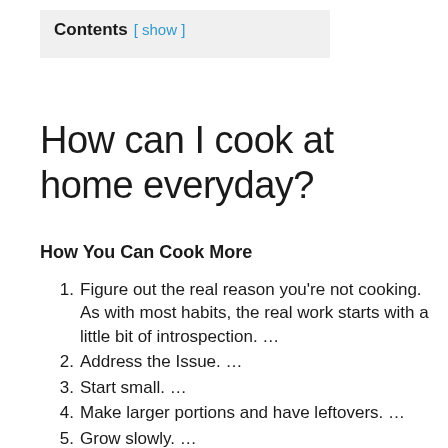Contents [ show ]
How can I cook at home everyday?
How You Can Cook More
Figure out the real reason you’re not cooking. As with most habits, the real work starts with a little bit of introspection. …
Address the Issue. …
Start small. …
Make larger portions and have leftovers. …
Grow slowly. …